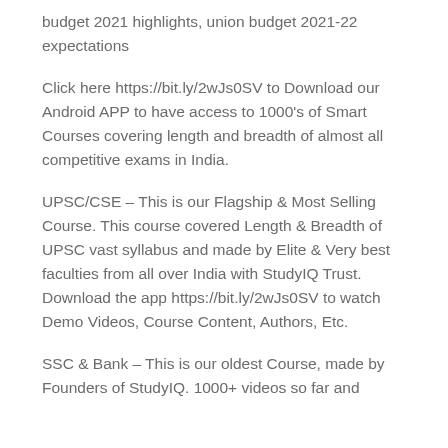budget 2021 highlights, union budget 2021-22 expectations
Click here https://bit.ly/2wJs0SV to Download our Android APP to have access to 1000's of Smart Courses covering length and breadth of almost all competitive exams in India.
UPSC/CSE – This is our Flagship & Most Selling Course. This course covered Length & Breadth of UPSC vast syllabus and made by Elite & Very best faculties from all over India with StudyIQ Trust. Download the app https://bit.ly/2wJs0SV to watch Demo Videos, Course Content, Authors, Etc.
SSC & Bank – This is our oldest Course, made by Founders of StudyIQ. 1000+ videos so far and